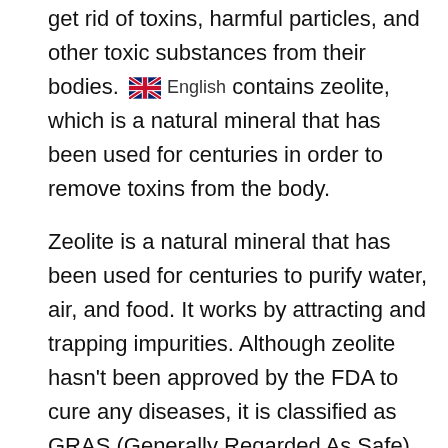get rid of toxins, harmful particles, and other toxic substances from their bodies. [English flag] English contains zeolite, which is a natural mineral that has been used for centuries in order to remove toxins from the body.
Zeolite is a natural mineral that has been used for centuries to purify water, air, and food. It works by attracting and trapping impurities. Although zeolite hasn't been approved by the FDA to cure any diseases, it is classified as GRAS (Generally Regarded As Safe).
Nonetheless, Pure Body Extra zeolite spray can help you with numerous health problems that are caused